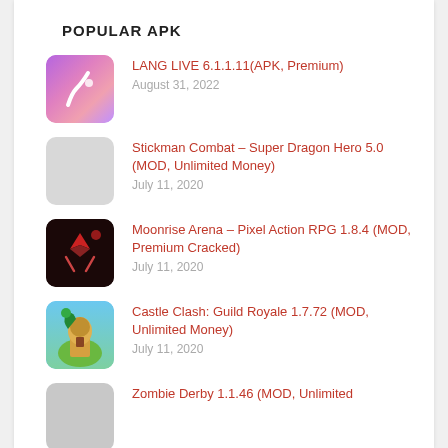POPULAR APK
LANG LIVE 6.1.1.11(APK, Premium)
August 31, 2022
Stickman Combat – Super Dragon Hero 5.0 (MOD, Unlimited Money)
July 11, 2020
Moonrise Arena – Pixel Action RPG 1.8.4 (MOD, Premium Cracked)
July 11, 2020
Castle Clash: Guild Royale 1.7.72 (MOD, Unlimited Money)
July 11, 2020
Zombie Derby 1.1.46 (MOD, Unlimited